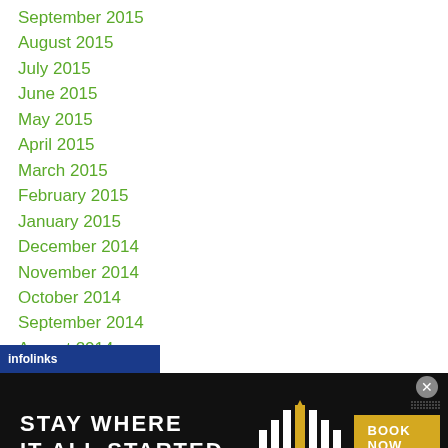September 2015
August 2015
July 2015
June 2015
May 2015
April 2015
March 2015
February 2015
January 2015
December 2014
November 2014
October 2014
September 2014
August 2014
July 2014
June 2014
[Figure (screenshot): Advertisement banner: black background with text 'STAY WHERE IT ALL STARTED', Golden Gate hotel logo, and 'BOOK NOW' button. Infolinks branding bar at top-left.]